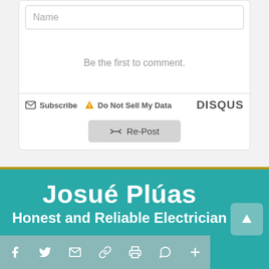[Figure (screenshot): Name input field for Disqus comment section]
Be the first to comment.
Subscribe  Do Not Sell My Data  DISQUS
[Figure (screenshot): Re-Post button with retweet icon]
Josué Plúas
Honest and Reliable Electrician
[Figure (screenshot): Social share bar with Facebook, Twitter, Email, Link, Print, WhatsApp, More icons and scroll-to-top button]